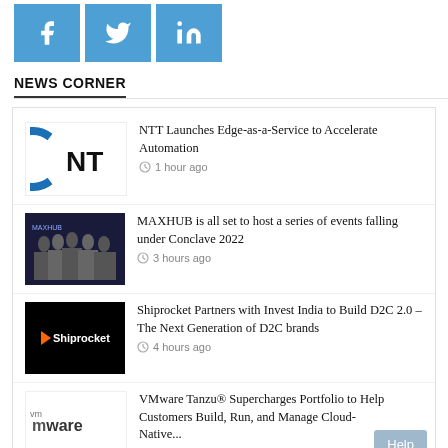[Figure (other): Social media share buttons for Facebook, Twitter, and LinkedIn in blue]
NEWS CORNER
NTT Launches Edge-as-a-Service to Accelerate Automation — 1 hour ago
MAXHUB is all set to host a series of events falling under Conclave 2022 — 3 hours ago
Shiprocket Partners with Invest India to Build D2C 2.0 – The Next Generation of D2C brands — 4 hours ago
VMware Tanzu® Supercharges Portfolio to Help Customers Build, Run, and Manage Cloud-Native...